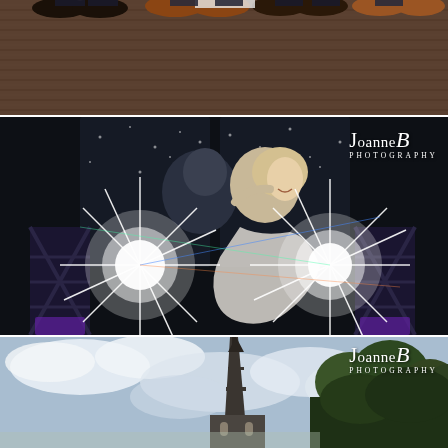[Figure (photo): Top strip photo: shoes and feet of wedding party standing on striped wooden floor, viewed from above]
[Figure (photo): Middle strip photo: bride and groom sharing first dance, embracing and smiling, dramatic star-burst stage lights behind them with DJ equipment visible, dark background with bokeh lights. Joanne B Photography watermark in top right.]
[Figure (photo): Bottom strip photo: outdoor scene showing a church spire against a cloudy sky with trees visible on the right. Joanne B Photography watermark in top right.]